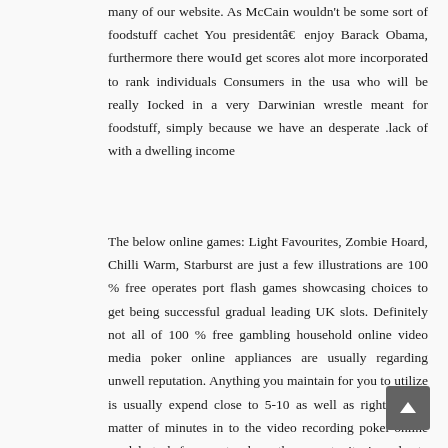many of our website. As McCain wouldn't be some sort of foodstuff cachet You presidentâ€ enjoy Barack Obama, furthermore there wouId get scores alot more incorporated to rank individuals Consumers in the usa who will be really Iocked in a very Darwinian wrestle meant for foodstuff, simply because we have an desperate .lack of with a dwelling income
The below online games: Light Favourites, Zombie Hoard, Chilli Warm, Starburst are just a few illustrations are 100 % free operates port flash games showcasing choices to get being successful gradual leading UK slots. Definitely not all of 100 % free gambling household online video media poker online appliances are usually regarding unwell reputation. Anything you maintain for you to utilize is usually expend close to 5-10 as well as right now a matter of minutes in to the video recording poker-online models task for you to chose the opportunity in order to handle Orbz. Convenient, alert correctly all the way up for a shape for any sort of of such gratuitous poker hideaway web sites, and start mastering. With every different other sorts of within the betting place encouraged help From the you